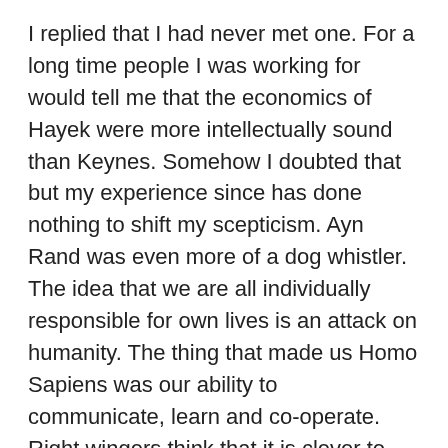I replied that I had never met one. For a long time people I was working for would tell me that the economics of Hayek were more intellectually sound than Keynes. Somehow I doubted that but my experience since has done nothing to shift my scepticism. Ayn Rand was even more of a dog whistler. The idea that we are all individually responsible for own lives is an attack on humanity. The thing that made us Homo Sapiens was our ability to communicate, learn and co-operate. Right wingers think that it is clever to dismiss ideas as “socialism” – indeed Mrs Thatcher famously said “There is no such thing as society.” Which is as big a lie as any told more recently by the 45th POTUS.
To understand conservatives, you need only to look at what has transpired in the 21st century. The crash of 2008 was one of their trademarks. And nothing has changed in